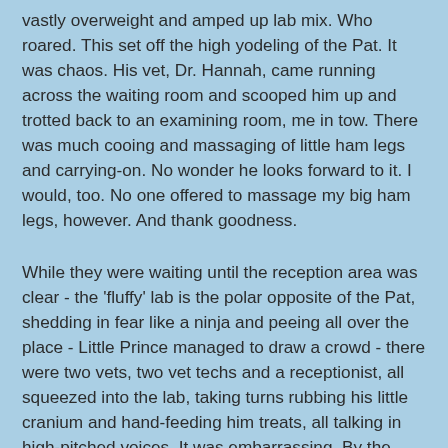vastly overweight and amped up lab mix.  Who roared.  This set off the high yodeling of the Pat.  It was chaos.  His vet, Dr. Hannah, came running across the waiting room and scooped him up and trotted back to an examining room, me in tow.  There was much cooing and massaging of little ham legs and carrying-on.  No wonder he looks forward to it.  I would, too.  No one offered to massage my big ham legs, however.  And thank goodness.
While they were waiting until the reception area was clear - the 'fluffy' lab is the polar opposite of the Pat, shedding in fear like a ninja and peeing all over the place - Little Prince managed to draw a crowd - there were two vets, two vet techs and a receptionist, all squeezed into the lab, taking turns rubbing his little cranium and hand-feeding him treats, all talking in high-pitched voices.  It was embarrassing.  By the time we made it back to the car, his little head was drooping and he dozed all the way home.  There was a joyful reunion of siblings - parted for those long minutes - and then he went into his crate on his own, pulled up his blanket and was asleep before I left for work.  I want to come back as the